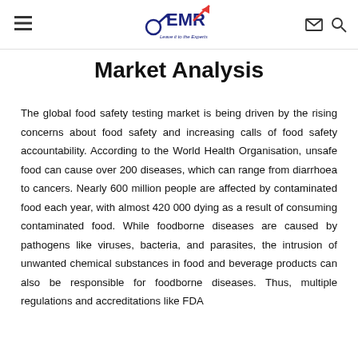EMR — Leave it to the Experts (logo with menu and search/mail icons)
Market Analysis
The global food safety testing market is being driven by the rising concerns about food safety and increasing calls of food safety accountability. According to the World Health Organisation, unsafe food can cause over 200 diseases, which can range from diarrhoea to cancers. Nearly 600 million people are affected by contaminated food each year, with almost 420 000 dying as a result of consuming contaminated food. While foodborne diseases are caused by pathogens like viruses, bacteria, and parasites, the intrusion of unwanted chemical substances in food and beverage products can also be responsible for foodborne diseases. Thus, multiple regulations and accreditations like FDA